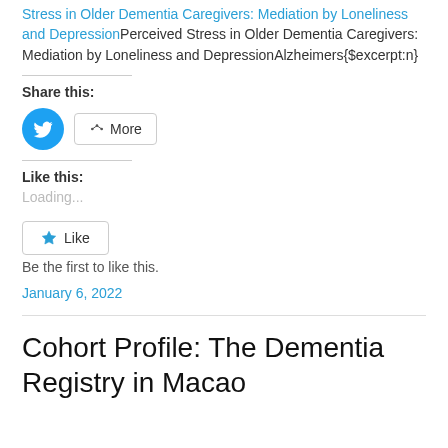Stress in Older Dementia Caregivers: Mediation by Loneliness and DepressionPerceived Stress in Older Dementia Caregivers: Mediation by Loneliness and DepressionAlzheimers{$excerpt:n}
Share this:
[Figure (other): Twitter share button (blue circle with bird icon) and More share button with share icon]
Like this:
Loading...
[Figure (other): Like button with star icon]
Be the first to like this.
January 6, 2022
Cohort Profile: The Dementia Registry in Macao